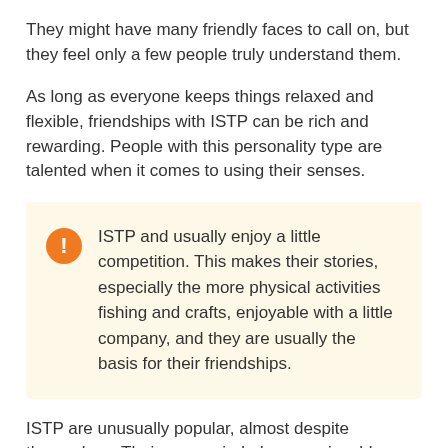They might have many friendly faces to call on, but they feel only a few people truly understand them.
As long as everyone keeps things relaxed and flexible, friendships with ISTP can be rich and rewarding. People with this personality type are talented when it comes to using their senses.
ISTP and usually enjoy a little competition. This makes their stories, especially the more physical activities fishing and crafts, enjoyable with a little company, and they are usually the basis for their friendships.
ISTP are unusually popular, almost despite themselves. Their open-mindedness, enjoyable hobbies and relaxed attitude are attractive to people from different personality types.